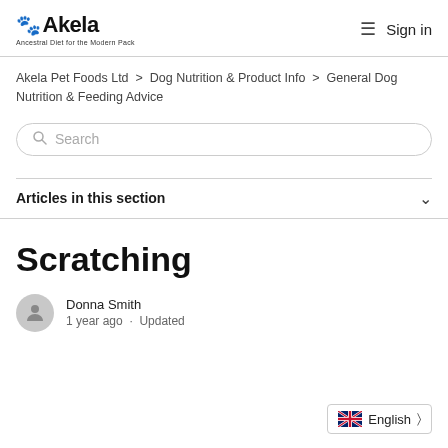Akela — Ancestral Diet for the Modern Pack | Sign in
Akela Pet Foods Ltd > Dog Nutrition & Product Info > General Dog Nutrition & Feeding Advice
Search
Articles in this section
Scratching
Donna Smith
1 year ago · Updated
English